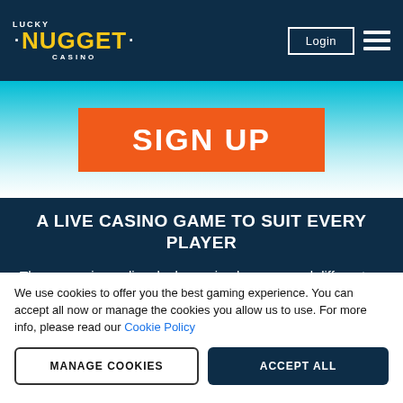[Figure (logo): Lucky Nugget Casino logo with yellow text on dark navy background]
[Figure (screenshot): Login button and hamburger menu icon in top nav bar]
[Figure (screenshot): SIGN UP orange button on light blue gradient banner]
A LIVE CASINO GAME TO SUIT EVERY PLAYER
The games in our live dealer casino have several different betting limits, to easily accommodate the budget sizes of all our players. We also offer a live chat feature, which can be turned on or off with a
We use cookies to offer you the best gaming experience. You can accept all now or manage the cookies you allow us to use. For more info, please read our Cookie Policy
MANAGE COOKIES
ACCEPT ALL